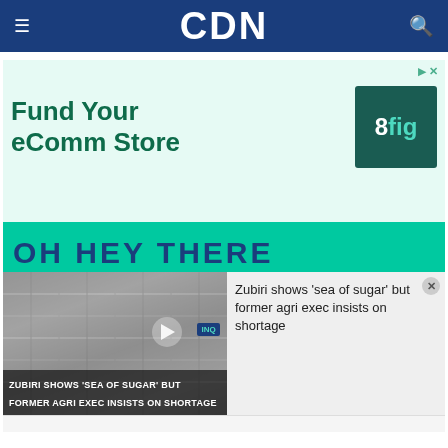CDN
[Figure (other): Advertisement: Fund Your eComm Store – 8fig logo]
[Figure (other): Second advertisement banner with teal background showing partial text 'OH HEY THERE']
[Figure (photo): Video thumbnail showing stacked sugar sacks with text overlay 'ZUBIRI SHOWS SEA OF SUGAR BUT FORMER AGRI EXEC INSISTS ON SHORTAGE' and INQ badge. Play button visible.]
Zubiri shows 'sea of sugar' but former agri exec insists on shortage